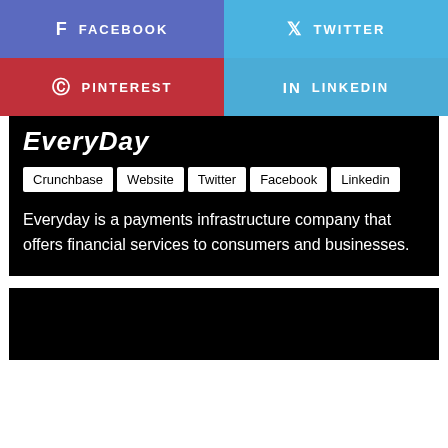[Figure (infographic): Social media share buttons: Facebook (purple-blue), Twitter (light blue), Pinterest (red), LinkedIn (blue)]
EveryDay
Crunchbase
Website
Twitter
Facebook
Linkedin
Everyday is a payments infrastructure company that offers financial services to consumers and businesses.
[Figure (photo): Black image section at bottom of page]